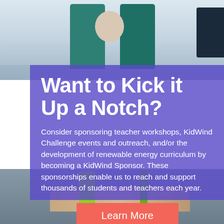[Figure (photo): Background photo of students/children at desks or tables, with teal chairs visible at top and hands working on a green object at bottom. Two people partially visible.]
Want to Kick it Up a Notch?
Consider sponsoring teacher workshops, KidWind Challenge events and outreach, and/or the development of renewable energy curriculum by becoming a KidWind Sponsor. These sponsorships enable us to reach and support thousands of students and teachers each year.
Learn More